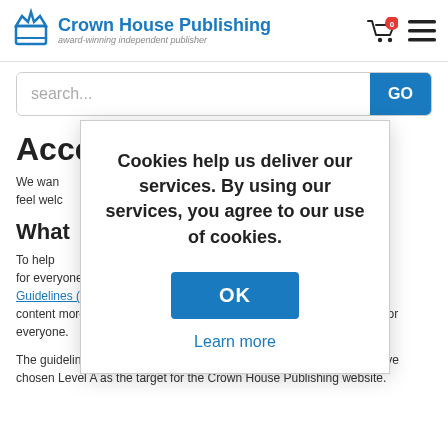Crown House Publishing — award-winning independent publisher
search...
Accessibility
We want everyone who visits our website to feel welcome
What
Cookies help us deliver our services. By using our services, you agree to our use of cookies.
OK
Learn more
To help we place for everyone, we've been using the Web Content Accessibility Guidelines (WCAG) 2.0. These guidelines explain how to make web content more accessible for people with disabilities, and user friendly for everyone.
The guidelines have three levels of accessibility (A, AA and AAA). We've chosen Level A as the target for the Crown House Publishing website.